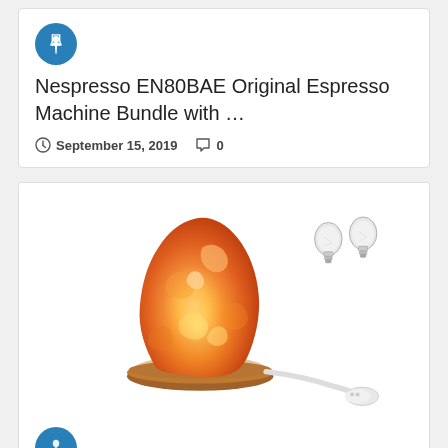[Figure (screenshot): Blue circular pin icon]
Nespresso EN80BAE Original Espresso Machine Bundle with …
September 15, 2019  0
[Figure (photo): Levoit Kana Himalayan Salt Lamp with two light bulbs and a white power plug, sitting on a wooden base. The lamp glows orange. Brand name 'Levoit' visible on base.]
[Figure (screenshot): Blue circular pin icon]
Levoit Kana Himalayan Salt Lamp Natural Himilian …